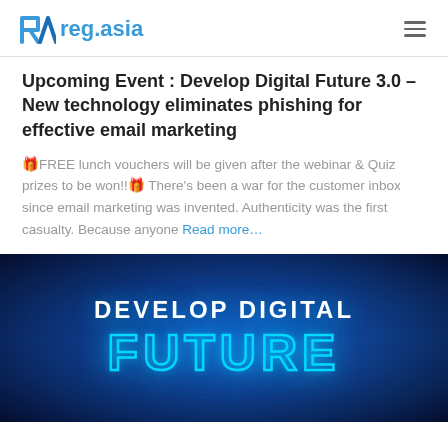reg.asia
Upcoming Event : Develop Digital Future 3.0 – New technology eliminates phishing for effective email marketing
🎁FREE lunch vouchers will be given after the webinar & Quiz prizes to be won!!🎁 There's been a war for the customer inbox since email marketing was invented. Authenticity was the first casualty. Because anyone  Read more…
[Figure (illustration): Dark blue digital promotional banner showing 'DEVELOP DIGITAL FUTURE' in white bold text and 'FUTURE' in large cyan neon outline letters against a dark blue glowing background with circuit/tech design elements.]